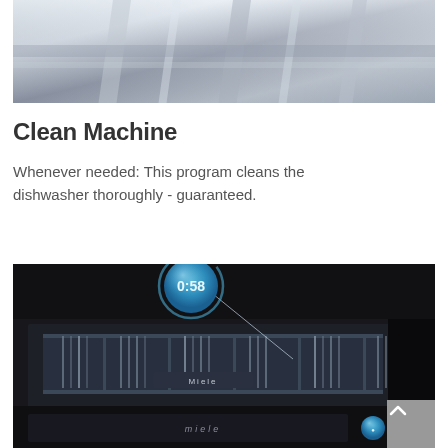[Figure (photo): Close-up photo of stainless steel dishwasher rack or cutlery basket, metallic silver tones with blurred background]
Clean Machine
Whenever needed: This program cleans the dishwasher thoroughly - guaranteed.
[Figure (photo): Photo of an open Miele dishwasher with cutlery basket visible, dark panel, and a blue circular timer display showing 0:58 with a callout line pointing to the dishwasher. A scroll-to-top button is overlaid in the bottom right corner.]